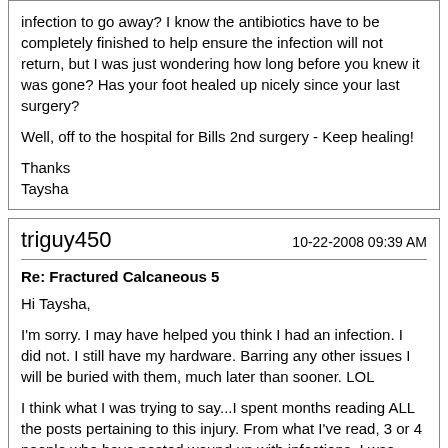infection to go away? I know the antibiotics have to be completely finished to help ensure the infection will not return, but I was just wondering how long before you knew it was gone? Has your foot healed up nicely since your last surgery?

Well, off to the hospital for Bills 2nd surgery - Keep healing!

Thanks
Taysha
triguy450
10-22-2008 09:39 AM
Re: Fractured Calcaneous 5
Hi Taysha,

I'm sorry. I may have helped you think I had an infection. I did not. I still have my hardware. Barring any other issues I will be buried with them, much later than sooner. LOL

I think what I was trying to say...I spent months reading ALL the posts pertaining to this injury. From what I've read, 3 or 4 people who have posted wound up with infections. I was sharing what I gathered from their posts.

To answer your question as best I can, I believe it takes 2 IV's per day for about 6 weeks after hardware removal for the infection to go away. The doc will test your husband's white blood cell count during the